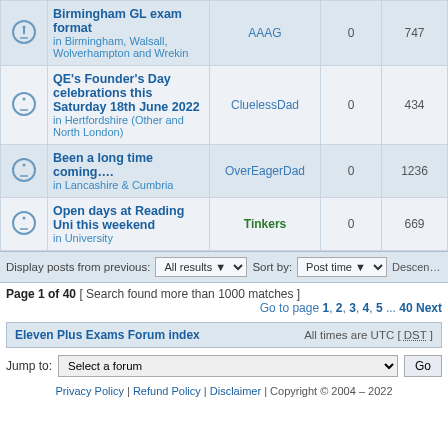|  | Topic | Author | Replies | Views |
| --- | --- | --- | --- | --- |
| [icon] | Birmingham GL exam format in Birmingham, Walsall, Wolverhampton and Wrekin | AAAG | 0 | 747 |
| [icon] | QE's Founder's Day celebrations this Saturday 18th June 2022 in Hertfordshire (Other and North London) | CluelessDad | 0 | 434 |
| [icon] | Been a long time coming.... in Lancashire & Cumbria | OverEagerDad | 0 | 1236 |
| [icon] | Open days at Reading Uni this weekend in University | Tinkers | 0 | 669 |
Display posts from previous: All results Sort by: Post time Descending
Page 1 of 40 [ Search found more than 1000 matches ]
Go to page 1, 2, 3, 4, 5 ... 40 Next
Eleven Plus Exams Forum index   All times are UTC [ DST ]
Jump to: Select a forum Go
Privacy Policy | Refund Policy | Disclaimer | Copyright © 2004 – 2022